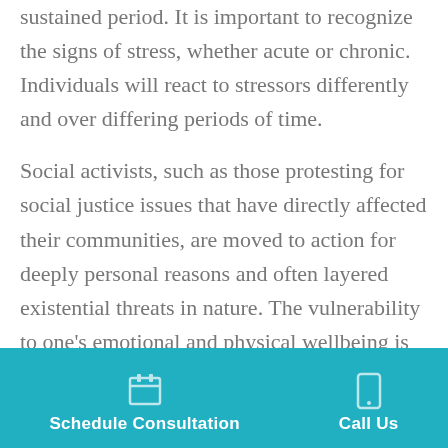sustained period. It is important to recognize the signs of stress, whether acute or chronic. Individuals will react to stressors differently and over differing periods of time.
Social activists, such as those protesting for social justice issues that have directly affected their communities, are moved to action for deeply personal reasons and often layered existential threats in nature. The vulnerability to one's emotional and physical wellbeing is felt immediately, and no doubt intensifies with time. And as one would imagine, setting boundaries for a healthy
Schedule Consultation   Call Us